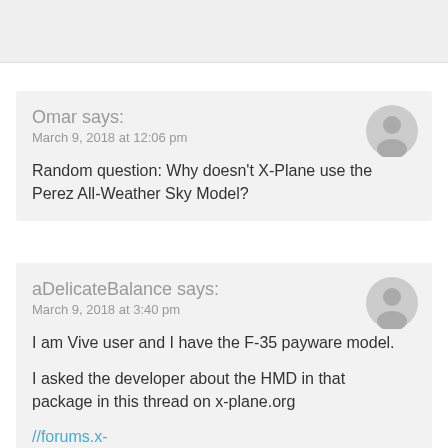Omar says: March 9, 2018 at 12:06 pm
Random question: Why doesn't X-Plane use the Perez All-Weather Sky Model?
aDelicateBalance says: March 9, 2018 at 3:40 pm
I am Vive user and I have the F-35 payware model.
I asked the developer about the HMD in that package in this thread on x-plane.org
//forums.x-plane.org/index.php?/forums/topic/143627-f-35-hmd-in-vr/